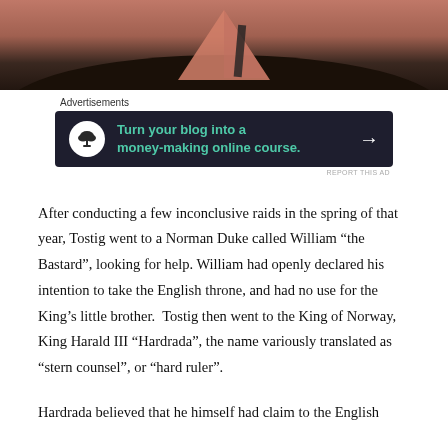[Figure (photo): Top portion of a photo showing a pink/terracotta triangular object on a dark round table surface]
Advertisements
[Figure (other): Advertisement banner with dark background: 'Turn your blog into a money-making online course.' with a bonsai tree icon and arrow]
REPORT THIS AD
After conducting a few inconclusive raids in the spring of that year, Tostig went to a Norman Duke called William “the Bastard”, looking for help. William had openly declared his intention to take the English throne, and had no use for the King’s little brother.  Tostig then went to the King of Norway, King Harald III “Hardrada”, the name variously translated as “stern counsel”, or “hard ruler”.
Hardrada believed that he himself had claim to the English